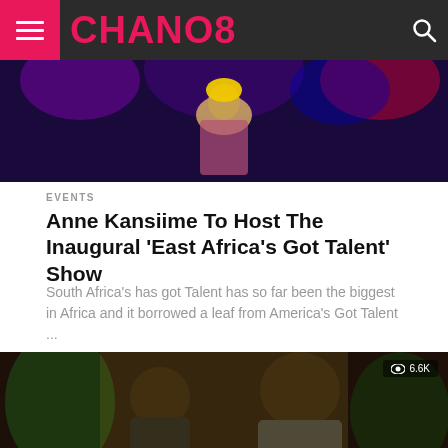CHANO8
[Figure (photo): Woman in yellow head wrap performing on stage with colorful lights]
EVENTS
Anne Kansiime To Host The Inaugural 'East Africa's Got Talent' Show
South Africa's has got Talent has so far been the biggest in Africa and it borrowed a leaf from America's Got Talent ...
[Figure (photo): Two people smiling together, close-up portrait, 6.6K views]
CELEBRITY GOSSIP
Anne Kansiime Sheds More Light On Why She...